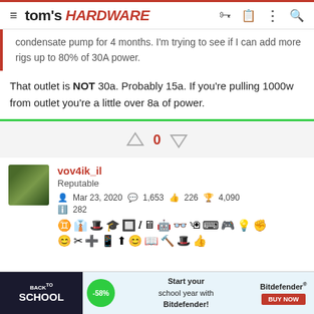tom's HARDWARE
condensate pump for 4 months. I'm trying to see if I can add more rigs up to 80% of 30A power.
That outlet is NOT 30a. Probably 15a. If you're pulling 1000w from outlet you're a little over 8a of power.
0
vov4ik_il
Reputable
Mar 23, 2020  1,653  226  4,090
282